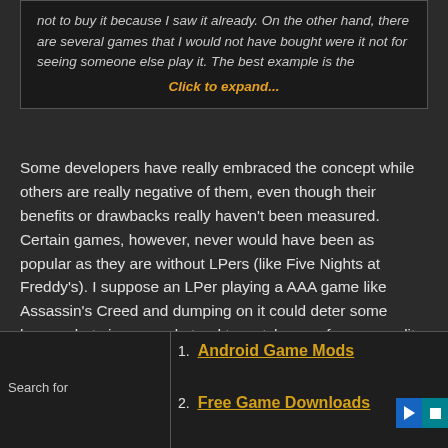not to buy it because I saw it already. On the other hand, there are several games that I would not have bought were it not for seeing someone else play it. The best example is the
Click to expand...
Some developers have really embraced the concept while others are really negative of them, even though their benefits or drawbacks really haven't been measured. Certain games, however, never would have been as popular as they are without LPers (like Five Nights at Freddy's). I suppose an LPer playing a AAA game like Assassin's Creed and dumping on it could deter some buyers, but since people tend to watch more for personality than the games played, it's not that common to search up an LP for a game, see someone trash it, then decide not to buy it -- or at least, it's probably as common as seeing someone play a game then wanting to buy it for yourself. Either way, that's the same risk run with a game getting good or bad reviews. This doesn't consider the game's story of course, but there are plenty
Search for
1. Android Game Mods
2. Free Game Downloads